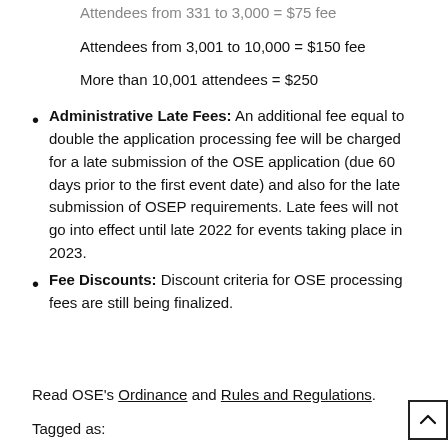Attendees from 3,001 to 10,000 = $150 fee
More than 10,001 attendees = $250
Administrative Late Fees: An additional fee equal to double the application processing fee will be charged for a late submission of the OSE application (due 60 days prior to the first event date) and also for the late submission of OSEP requirements. Late fees will not go into effect until late 2022 for events taking place in 2023.
Fee Discounts: Discount criteria for OSE processing fees are still being finalized.
Read OSE's Ordinance and Rules and Regulations.
Tagged as: